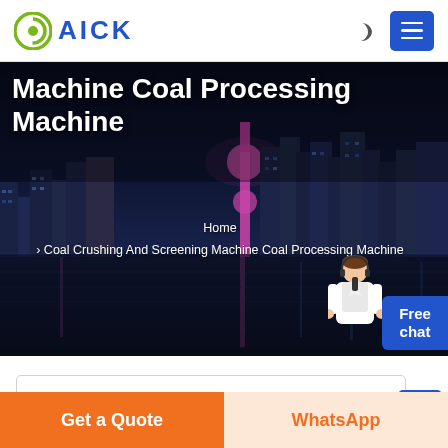[Figure (logo): AICK company logo with green C icon and blue AICK text]
Machine Coal Processing Machine
Home
> Coal Crushing And Screening Machine Coal Processing Machine
[Figure (photo): Night cityscape banner showing illuminated Shanghai skyline with colorful lights reflected on water]
Welcome to the mining equipment production base. We mainly produce crushing, grinding and related mining
Get a Quote
WhatsApp